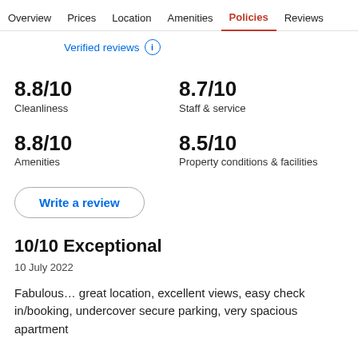Overview  Prices  Location  Amenities  Policies  Reviews
Verified reviews ⓘ
8.8/10
Cleanliness
8.7/10
Staff & service
8.8/10
Amenities
8.5/10
Property conditions & facilities
Write a review
10/10 Exceptional
10 July 2022
Fabulous… great location, excellent views, easy check in/booking, undercover secure parking, very spacious apartment